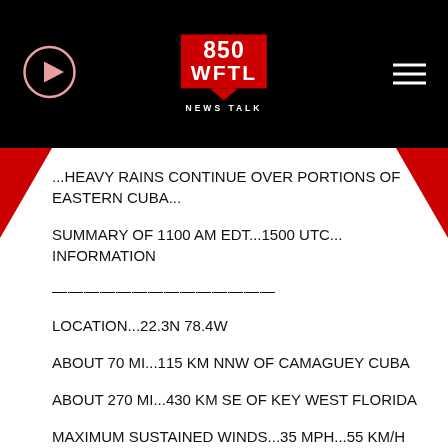850 WFTL NEWS TALK
...HEAVY RAINS CONTINUE OVER PORTIONS OF EASTERN CUBA...
SUMMARY OF 1100 AM EDT...1500 UTC... INFORMATION
——————————————
LOCATION...22.3N 78.4W
ABOUT 70 MI...115 KM NNW OF CAMAGUEY CUBA
ABOUT 270 MI...430 KM SE OF KEY WEST FLORIDA
MAXIMUM SUSTAINED WINDS...35 MPH...55 KM/H